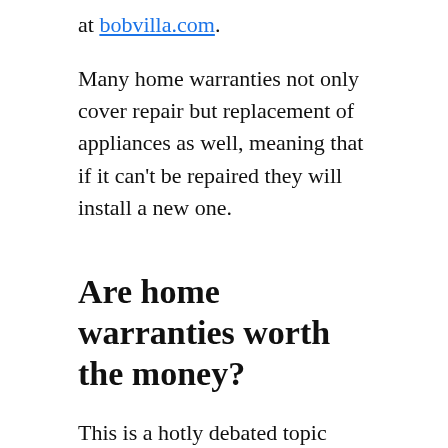at bobvilla.com.
Many home warranties not only cover repair but replacement of appliances as well, meaning that if it can't be repaired they will install a new one.
Are home warranties worth the money?
This is a hotly debated topic among real estate agents. Some say they aren't worth the paper they are written on. Many more say that because of the peace of mind they offer new homeowners they are absolutely worth the